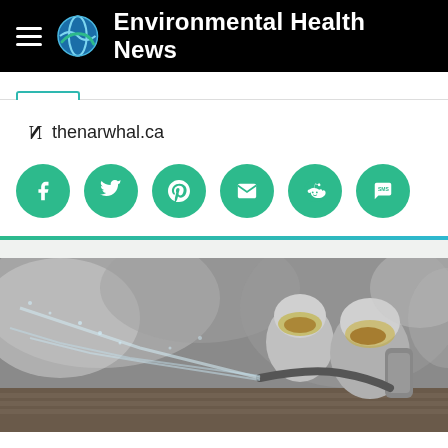Environmental Health News
thenarwhal.ca
[Figure (infographic): Row of six green circular social share buttons: Facebook, Twitter, Pinterest, Email, Reddit, SMS]
[Figure (photo): Two firefighters in silver protective gear and helmets with visors, spraying water hose amid smoke and water spray]